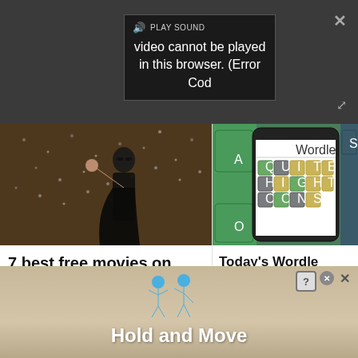[Figure (screenshot): Video player overlay with error message popup showing speaker icon, PLAY SOUND text, and error message: video cannot be played in this browser. (Error Cod]
[Figure (photo): Movie still from The Matrix showing Neo in black coat stopping bullets with raised hand]
7 best free movies on Amazon Prime Video in September 2022 ►
[Figure (photo): Wordle game on smartphone screen showing colored letter tiles with words QUITE, HIGHT, and CONS visible]
Today's Wordle answer and hints — solution #436, Monday, August 29 ►
[Figure (screenshot): Advertisement banner showing blue stick figures and text Hold and Move with close and question mark buttons]